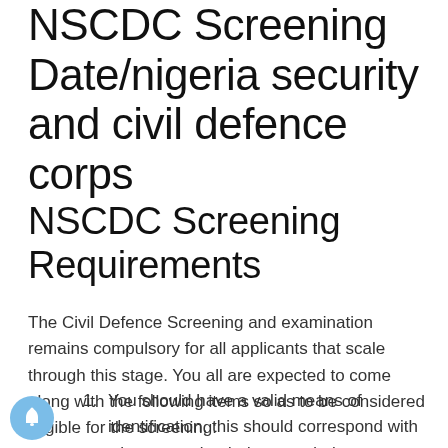NSCDC Screening Date/nigeria security and civil defence corps
NSCDC Screening Requirements
The Civil Defence Screening and examination remains compulsory for all applicants that scale through this stage. You all are expected to come along with the following items so as to be considered eligible for the screening:
1. You should have a valid means of identification, this should correspond with what you uploaded on net during your application.